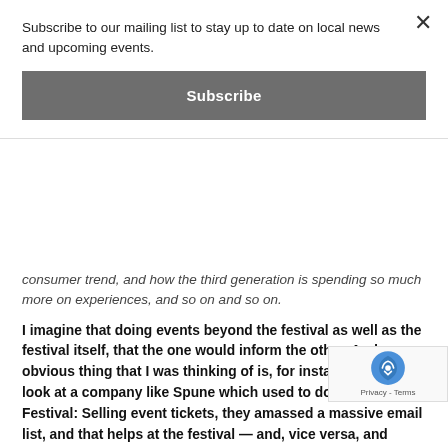Subscribe to our mailing list to stay up to date on local news and upcoming events.
Subscribe
consumer trend, and how the third generation is spending so much more on experiences, and so on and so on.
I imagine that doing events beyond the festival as well as the festival itself, that the one would inform the other. And obvious thing that I was thinking of is, for instance, if you look at a company like Spune which used to do the Index Festival: Selling event tickets, they amassed a massive email list, and that helps at the festival — and, vice versa, and having an active email list from the festival probably helps to promote their events. Is that the case with what you guys are doing? Are there other ways in which the festival and the year-round ever one another's hand?
Ramtin: I think it's what you mentioned. The really big on you start to get ticket buyers and people who engage with you on